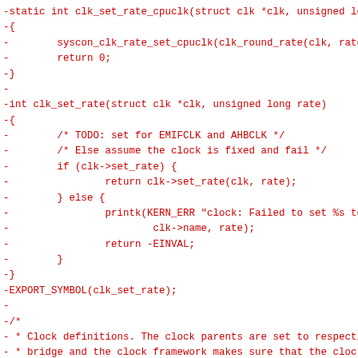[Figure (other): Source code diff showing removed C functions clk_set_rate_cpuclk and clk_set_rate, displayed in red monospace font on white background. Lines prefixed with '-' indicating deletions.]